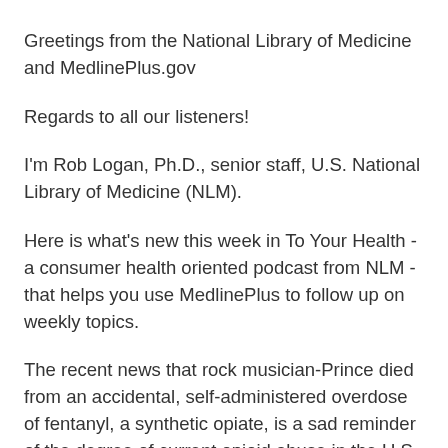Greetings from the National Library of Medicine and MedlinePlus.gov
Regards to all our listeners!
I'm Rob Logan, Ph.D., senior staff, U.S. National Library of Medicine (NLM).
Here is what's new this week in To Your Health - a consumer health oriented podcast from NLM - that helps you use MedlinePlus to follow up on weekly topics.
The recent news that rock musician-Prince died from an accidental, self-administered overdose of fentanyl, a synthetic opiate, is a sad reminder of the degree of current opioid abuse in the U.S.
The National Institute on Drug Abuse (NIDA) reports more than two million Americans suffer from substance use disorders related to prescription opioid medications, which are pain killers.
PBS's Frontline recently reported deaths from opioid painkillers